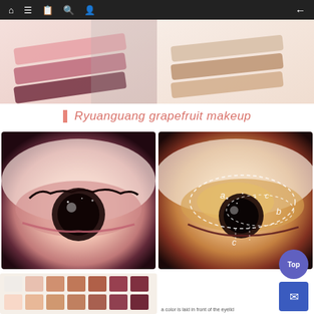Navigation bar with home, menu, book, search, user icons and back arrow
[Figure (photo): Two side-by-side swatches: left shows pink/mauve/dark rose eyeshadow swatches on skin; right shows nude/peach/tan eyeshadow swatches on skin]
Ryuanguang grapefruit makeup
[Figure (photo): Close-up of eye with pink glittery grapefruit makeup look]
[Figure (photo): Close-up of eye with orange/gold glittery makeup, annotated with white dashed circles and labels a, b, c showing eyeshadow placement zones]
[Figure (photo): Eyeshadow palette with multiple pans in neutral and warm tones]
a color is laid in front of the eyelid